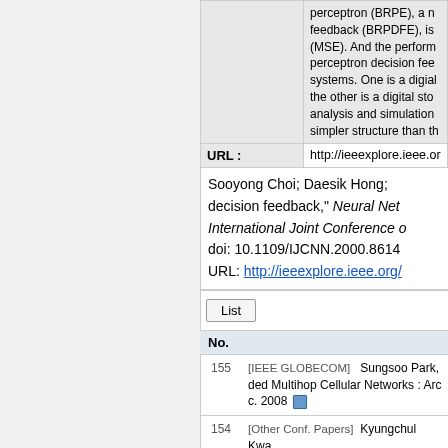| Abstract | perceptron (BRPE), a n feedback (BRPDFE), is (MSE). And the perform perceptron decision fee systems. One is a digial the other is a digital sto analysis and simulation simpler structure than th |
| URL : | http://ieeexplore.ieee.or |
Sooyong Choi; Daesik Hong; decision feedback," Neural Net International Joint Conference o doi: 10.1109/IJCNN.2000.8614 URL: http://ieeexplore.ieee.org/
List
| No. |
| --- |
| 155 | [IEEE GLOBECOM]   Sungsoo Park, ded Multihop Cellular Networks : Arc c. 2008 |
| 154 | [Other Conf. Papers]   Kyungchul Kwa to achieve full diversity and minimize ss Conference 2008,June 2008. |